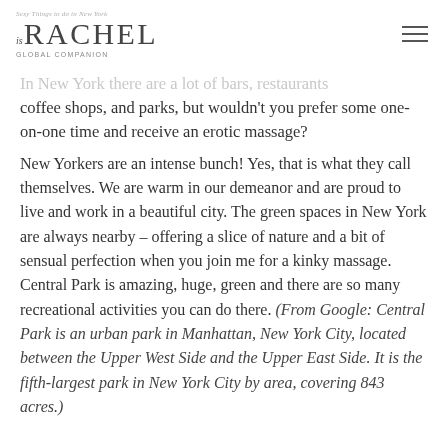Sexy Things to do in New York · RACHEL GLOBAL COMPANION
In New York there are a lot of bars, restaurants coffee shops, and parks, but wouldn't you prefer some one-on-one time and receive an erotic massage?
New Yorkers are an intense bunch! Yes, that is what they call themselves. We are warm in our demeanor and are proud to live and work in a beautiful city. The green spaces in New York are always nearby – offering a slice of nature and a bit of sensual perfection when you join me for a kinky massage. Central Park is amazing, huge, green and there are so many recreational activities you can do there. (From Google: Central Park is an urban park in Manhattan, New York City, located between the Upper West Side and the Upper East Side. It is the fifth-largest park in New York City by area, covering 843 acres.)